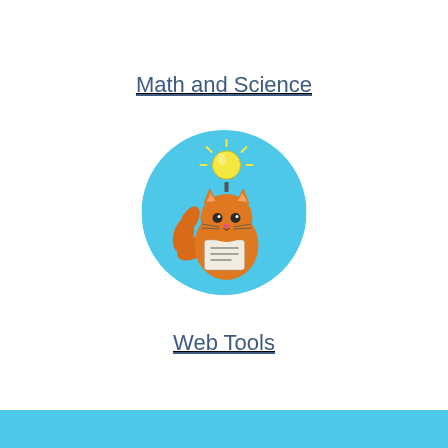Math and Science
[Figure (illustration): A cute orange cat sitting upright holding a document/paper, with a glowing yellow lightbulb above its head, set inside a light blue circle.]
Web Tools
[Figure (other): A solid light blue horizontal bar at the bottom of the page.]